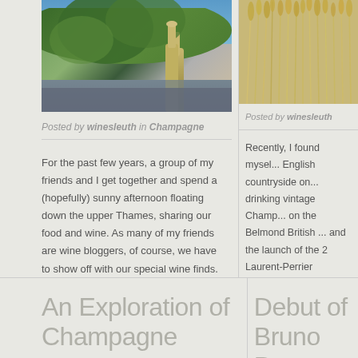[Figure (photo): Photo of a champagne bottle outdoors with green foliage and sky in background]
Posted by winesleuth in Champagne
[Figure (photo): Close-up photo of golden wheat or grain stalks]
Posted by winesleuth
For the past few years, a group of my friends and I get together and spend a (hopefully) sunny afternoon floating down the upper Thames, sharing our food and wine. As many of my friends are wine bloggers, of course, we have to show off with our special wine finds. This year was no exception. As I'm a big champagne lover, I...
Recently, I found mysel... English countryside on... drinking vintage Champ... on the Belmond British ... and the launch of the 2... Laurent-Perrier Champ... California, I never really travel by train but...
read more
An Exploration of Champagne
Debut of Bruno Pa...